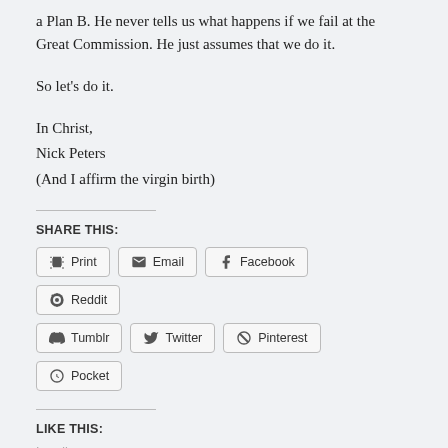a Plan B. He never tells us what happens if we fail at the Great Commission. He just assumes that we do it.
So let’s do it.
In Christ,
Nick Peters
(And I affirm the virgin birth)
SHARE THIS:
Print | Email | Facebook | Reddit | Tumblr | Twitter | Pinterest | Pocket
LIKE THIS:
Loading...